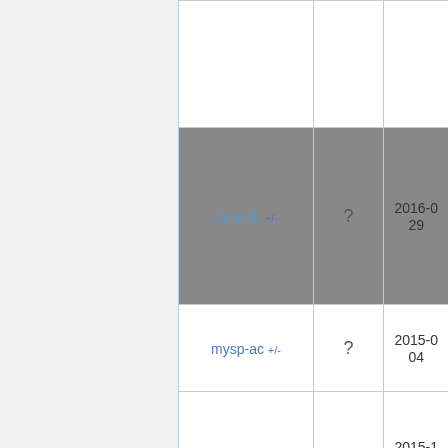| Name | Status | Date |
| --- | --- | --- |
|  |  |  |
| mrte.ch +/- | ? | 2016-0
29 |
| mysp-ac +/- | ? | 2015-0
04 |
| nig-gr +/- | ? | 2015-1
06 |
| nsfw-in +/- | ? | 2022-0
1 |